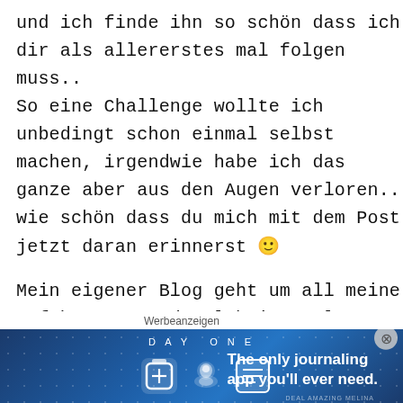und ich finde ihn so schön dass ich dir als allererstes mal folgen muss.. So eine Challenge wollte ich unbedingt schon einmal selbst machen, irgendwie habe ich das ganze aber aus den Augen verloren.. wie schön dass du mich mit dem Post jetzt daran erinnerst 🙂
Mein eigener Blog geht um all meine Erfahrungen und Erlebnisse als menschliches Wesen auf dieser Erde. Momentan teile ich meine Inspirationen zu Themen wie
[Figure (screenshot): Advertisement banner for DAY ONE journaling app with text 'The only journaling app you'll ever need.' on a dark blue starry background with app icons.]